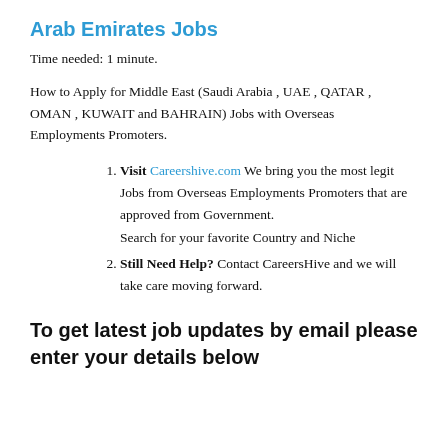Arab Emirates Jobs
Time needed: 1 minute.
How to Apply for Middle East (Saudi Arabia , UAE , QATAR , OMAN , KUWAIT and BAHRAIN) Jobs with Overseas Employments Promoters.
Visit Careershive.com We bring you the most legit Jobs from Overseas Employments Promoters that are approved from Government.
Search for your favorite Country and Niche
Still Need Help? Contact CareersHive and we will take care moving forward.
To get latest job updates by email please enter your details below